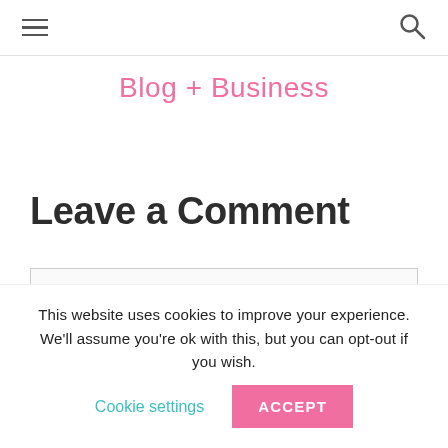≡  🔍
Blog + Business
Leave a Comment
This website uses cookies to improve your experience. We'll assume you're ok with this, but you can opt-out if you wish.
Cookie settings  ACCEPT